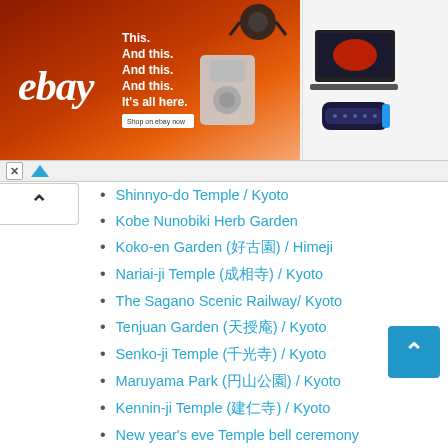[Figure (illustration): eBay advertisement banner with orange/brown gradient background, eBay logo in white italic, product images including headphones, kitchen mixer, laptop, and Bluetooth speaker, with text 'This. And this. And this. And this. It's all here.']
Shinnyo-do Temple / Kyoto
Kobe Nunobiki Herb Garden
Koko-en Garden (好古園) / Himeji
Nariai-ji Temple (成相寺) / Kyoto
The Sagano Scenic Railway/ Kyoto
Tenjuan Garden (天授庵) / Kyoto
Senko-ji Temple (千光寺) / Kyoto
Maruyama Park (円山公園) / Kyoto
Kennin-ji Temple (建仁寺) / Kyoto
New year's eve Temple bell ceremony
Izakaya-Japanese dinning 居酒屋料理
Ramen restaurant with No name in Kyoto
Mt. Konao/ Osaka has the mountain and